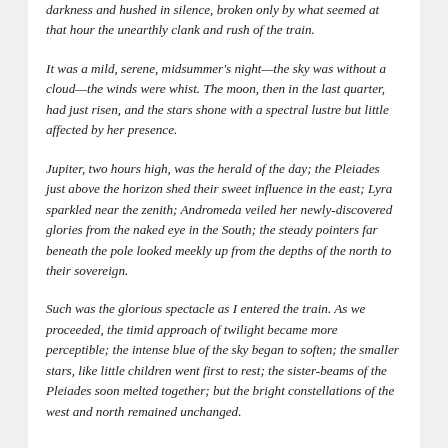darkness and hushed in silence, broken only by what seemed at that hour the unearthly clank and rush of the train.
It was a mild, serene, midsummer's night—the sky was without a cloud—the winds were whist. The moon, then in the last quarter, had just risen, and the stars shone with a spectral lustre but little affected by her presence.
Jupiter, two hours high, was the herald of the day; the Pleiades just above the horizon shed their sweet influence in the east; Lyra sparkled near the zenith; Andromeda veiled her newly-discovered glories from the naked eye in the South; the steady pointers far beneath the pole looked meekly up from the depths of the north to their sovereign.
Such was the glorious spectacle as I entered the train. As we proceeded, the timid approach of twilight became more perceptible; the intense blue of the sky began to soften; the smaller stars, like little children went first to rest; the sister-beams of the Pleiades soon melted together; but the bright constellations of the west and north remained unchanged.